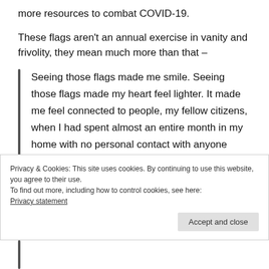more resources to combat COVID-19.
These flags aren't an annual exercise in vanity and frivolity, they mean much more than that –
Seeing those flags made me smile. Seeing those flags made my heart feel lighter. It made me feel connected to people, my fellow citizens, when I had spent almost an entire month in my home with no personal contact with anyone outside of my immediate family.
Privacy & Cookies: This site uses cookies. By continuing to use this website, you agree to their use.
To find out more, including how to control cookies, see here: Privacy statement
Accept and close